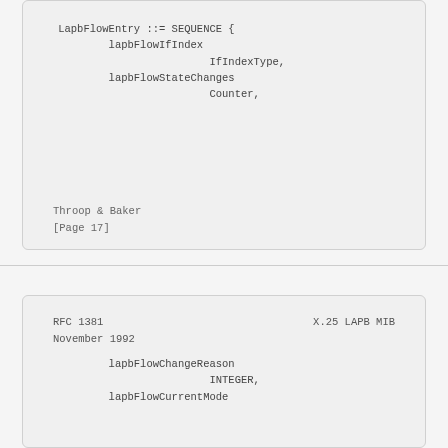Throop & Baker
[Page 17]
RFC 1381                              X.25 LAPB MIB
November 1992